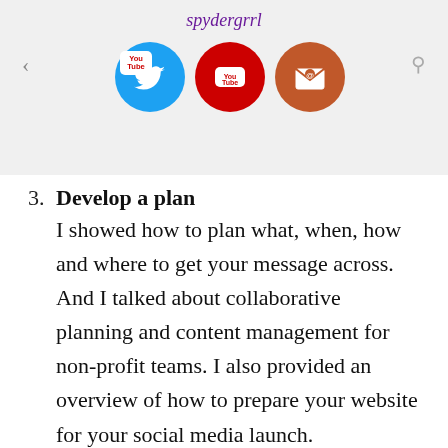spydergrrl
[Figure (illustration): Social media icons: Twitter (blue bird), YouTube (red), and email/newsletter (brown envelope), displayed as circular icons in a grey navigation bar with back arrow and search icon]
3. Develop a plan — I showed how to plan what, when, how and where to get your message across. And I talked about collaborative planning and content management for non-profit teams. I also provided an overview of how to prepare your website for your social media launch.
4. Get help — I explained the importance of using a network (or "army") to amplify your message with minimal effort on your part.